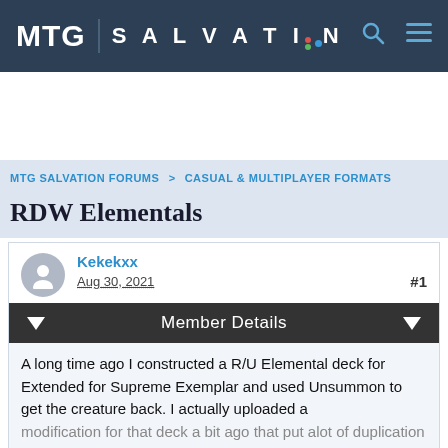MTG SALVATION
MTG SALVATION FORUMS > CASUAL & MULTIPLAYER FORMATS
RDW Elementals
Kekekxx   Aug 30, 2021   #1
Member Details
A long time ago I constructed a R/U Elemental deck for Extended for Supreme Exemplar and used Unsummon to get the creature back. I actually uploaded a modification for that deck a bit ago that put alot of duplication into the mix. This one uses the same mechanic, the old Incandescent Soulstoke/Flamekin